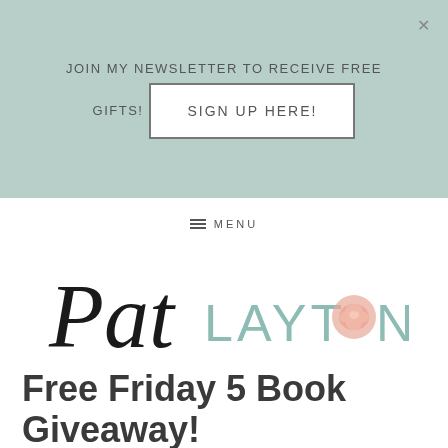JOIN MY NEWSLETTER TO RECEIVE FREE GIFTS!
SIGN UP HERE!
≡ MENU
[Figure (logo): Pat Layton logo — 'Pat' in cursive black script, 'LAYTON' in light teal sans-serif caps with a pink peony replacing the O]
Free Friday 5 Book Giveaway!